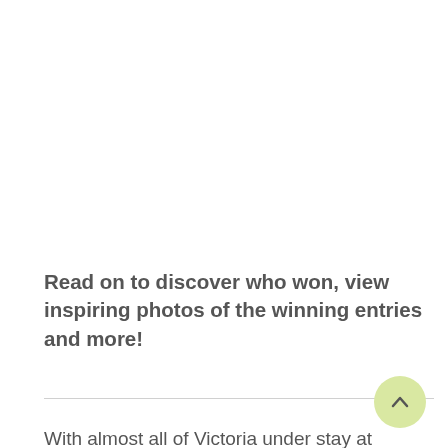Read on to discover who won, view inspiring photos of the winning entries and more!
With almost all of Victoria under stay at home orders, what better time to celebrate the small things in life? At OGV we're celebrating the small